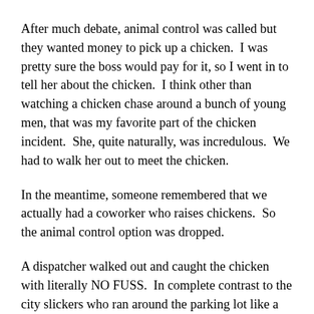After much debate, animal control was called but they wanted money to pick up a chicken.  I was pretty sure the boss would pay for it, so I went in to tell her about the chicken.  I think other than watching a chicken chase around a bunch of young men, that was my favorite part of the chicken incident.  She, quite naturally, was incredulous.  We had to walk her out to meet the chicken.
In the meantime, someone remembered that we actually had a coworker who raises chickens.  So the animal control option was dropped.
A dispatcher walked out and caught the chicken with literally NO FUSS.  In complete contrast to the city slickers who ran around the parking lot like a bunch of idiots.  Spending as much time being chased as chasing the chicken.